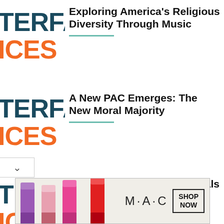[Figure (logo): INTERFACES logo with teal/navy TERFA and orange ICES text]
Exploring America's Religious Diversity Through Music
[Figure (logo): INTERFACES logo with teal/navy TERFA and orange ICES text]
A New PAC Emerges: The New Moral Majority
[Figure (logo): INTERFACES logo with teal/navy TERFA and orange ICES text]
Roundup: Prayers and Rituals for the New Year
[Figure (photo): MAC cosmetics advertisement with lipsticks and SHOP NOW button]